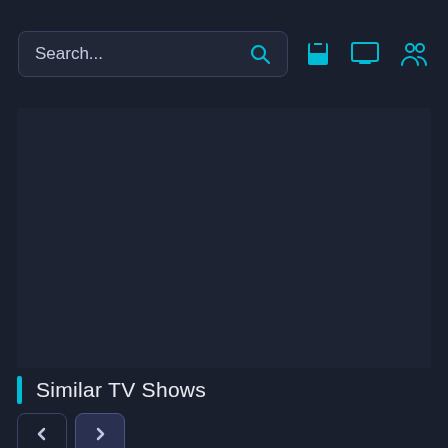[Figure (screenshot): Search bar with placeholder text 'Search...' and a cyan search icon on the right side]
[Figure (screenshot): Three cyan icon buttons: a save/bookmark icon, a TV/monitor icon, and a people/group icon]
[Figure (screenshot): Large dark content area (dark navy background) taking up most of the page]
Similar TV Shows
[Figure (screenshot): Navigation arrows: left arrow button (inactive) and right arrow button (active/highlighted)]
[Figure (screenshot): Two partially visible TV show thumbnail cards at the bottom. Left card shows ITV Studios logo with purple and green circles. Right card is dark with orange and teal circles.]